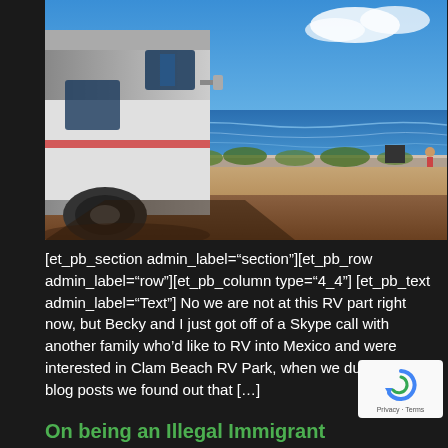[Figure (photo): An RV (motorhome) parked near a beach on a sunny day with blue sky. The RV is visible on the left side, and the sandy beach with ocean waves is visible in the background. A low concrete wall separates the parking area from the beach.]
[et_pb_section admin_label="section"][et_pb_row admin_label="row"][et_pb_column type="4_4"] [et_pb_text admin_label="Text"] No we are not at this RV part right now, but Becky and I just got off of a Skype call with another family who'd like to RV into Mexico and were interested in Clam Beach RV Park, when we dug into our blog posts we found out that [...]
On being an Illegal Immigrant